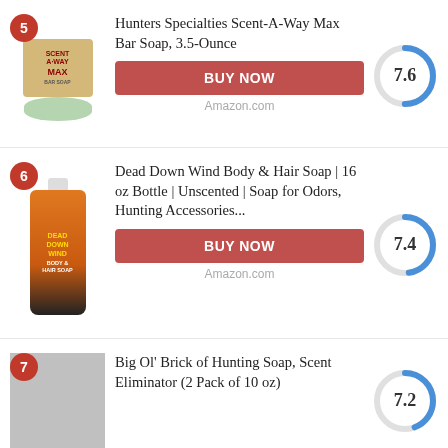[Figure (photo): Product listing item 5: Hunters Specialties Scent-A-Way Max Bar Soap, 3.5-Ounce with score 7.6]
[Figure (photo): Product listing item 6: Dead Down Wind Body & Hair Soap | 16 oz Bottle | Unscented | Soap for Odors, Hunting Accessories... with score 7.4]
[Figure (photo): Product listing item 7: Big Ol' Brick of Hunting Soap, Scent Eliminator (2 Pack of 10 oz) with score 7.2]